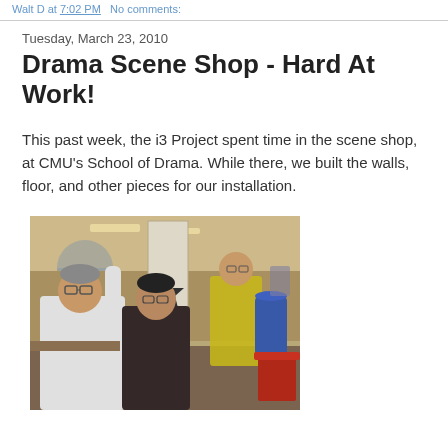Walt D at 7:02 PM   No comments:
Tuesday, March 23, 2010
Drama Scene Shop - Hard At Work!
This past week, the i3 Project spent time in the scene shop, at CMU's School of Drama. While there, we built the walls, floor, and other pieces for our installation.
[Figure (photo): People working in a scene shop/workshop, building walls and set pieces. Three people visible, one in white t-shirt on left, one in dark shirt center, one in yellow shirt in background. A white panel/wall piece stands in the center. Blue barrel and red bin visible on the right side.]